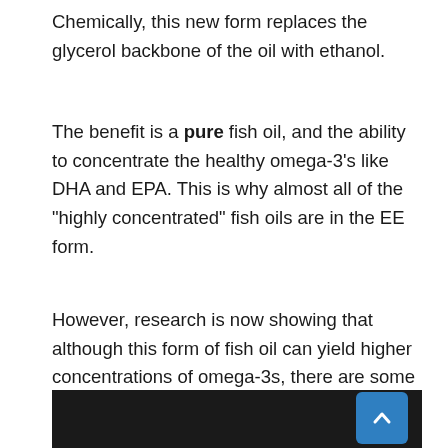Chemically, this new form replaces the glycerol backbone of the oil with ethanol.
The benefit is a pure fish oil, and the ability to concentrate the healthy omega-3’s like DHA and EPA. This is why almost all of the “highly concentrated” fish oils are in the EE form.
However, research is now showing that although this form of fish oil can yield higher concentrations of omega-3s, there are some absorbability issues.
[Figure (photo): Dark/black rectangular image area, partially visible at bottom of page, with a blue scroll-to-top button in the lower right corner.]